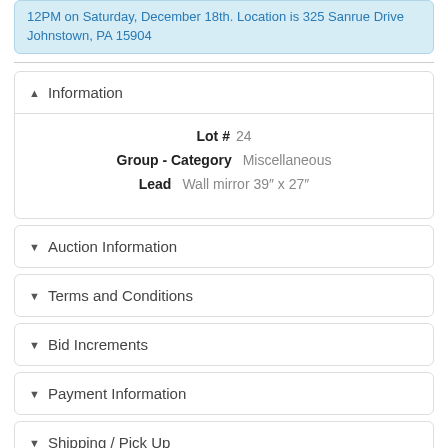12PM on Saturday, December 18th. Location is 325 Sanrue Drive Johnstown, PA 15904
Information
Lot # 24
Group - Category Miscellaneous
Lead Wall mirror 39" x 27"
Auction Information
Terms and Conditions
Bid Increments
Payment Information
Shipping / Pick Up